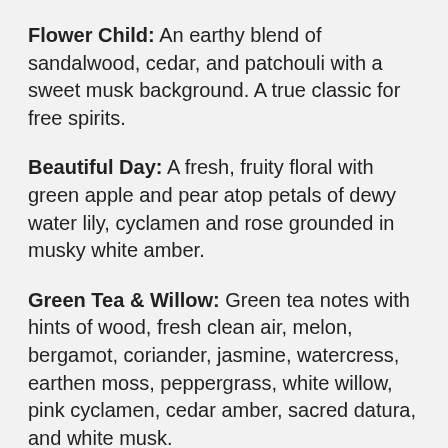Flower Child: An earthy blend of sandalwood, cedar, and patchouli with a sweet musk background. A true classic for free spirits.
Beautiful Day: A fresh, fruity floral with green apple and pear atop petals of dewy water lily, cyclamen and rose grounded in musky white amber.
Green Tea & Willow: Green tea notes with hints of wood, fresh clean air, melon, bergamot, coriander, jasmine, watercress, earthen moss, peppergrass, white willow, pink cyclamen, cedar amber, sacred datura, and white musk.
Eucalyptus Spearmint: An invigorating blend of cool eucalyptus and refreshing spearmint